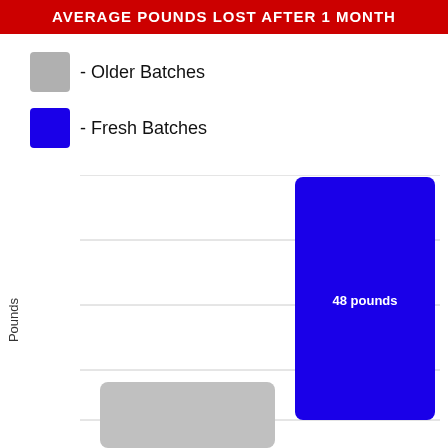AVERAGE POUNDS LOST AFTER 1 MONTH
- Older Batches
- Fresh Batches
[Figure (bar-chart): Average Pounds Lost After 1 Month]